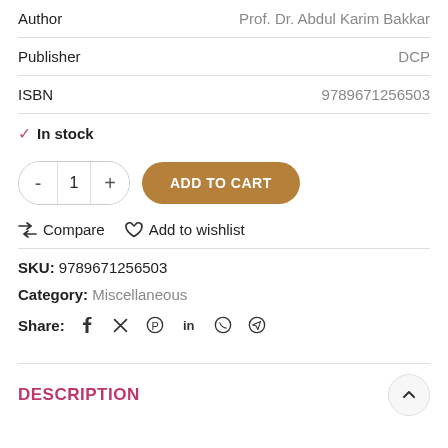| Author | Prof. Dr. Abdul Karim Bakkar |
| Publisher | DCP |
| ISBN | 9789671256503 |
✓ In stock
- 1 + ADD TO CART
⇄ Compare   ♡ Add to wishlist
SKU: 9789671256503
Category: Miscellaneous
Share: f 𝕏 @ in ⊕ ➤
DESCRIPTION